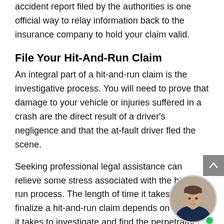accident report filed by the authorities is one official way to relay information back to the insurance company to hold your claim valid.
File Your Hit-And-Run Claim
An integral part of a hit-and-run claim is the investigative process. You will need to prove that damage to your vehicle or injuries suffered in a crash are the direct result of a driver's negligence and that the at-fault driver fled the scene.
Seeking professional legal assistance can relieve some stress associated with the hit-and-run process. The length of time it takes to finalize a hit-and-run claim depends on how long it takes to investigate and find the perpetrator.
First, seek medical care and the help of the authorities. Then, when you are ready to do so, reach
[Figure (photo): Circular avatar photo of a man in a suit, with a green online indicator dot in the bottom right]